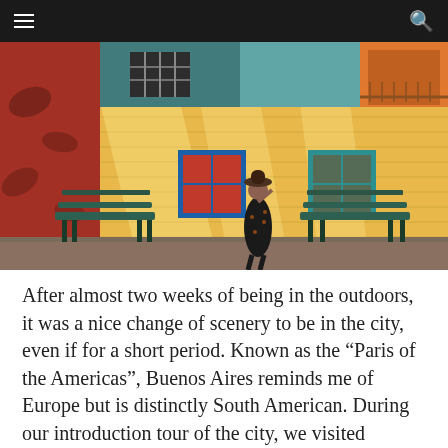[Figure (photo): A woman in a floral dress and hat standing in front of a colorful yellow brick wall with teal and red painted sections, blue-framed windows, and green park benches in La Boca neighborhood of Buenos Aires.]
After almost two weeks of being in the outdoors, it was a nice change of scenery to be in the city, even if for a short period. Known as the “Paris of the Americas”, Buenos Aires reminds me of Europe but is distinctly South American. During our introduction tour of the city, we visited historic Plaza de Mayo, the colorful